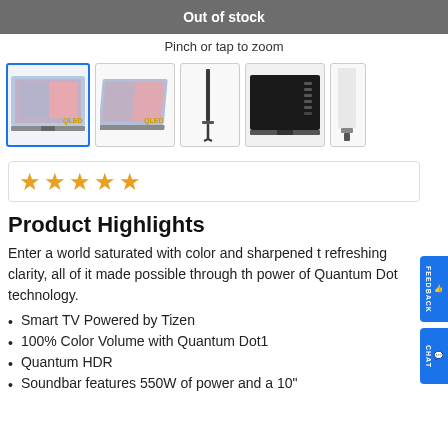Out of stock
Pinch or tap to zoom
[Figure (photo): Product thumbnail gallery showing Samsung QLED TV from multiple angles: front view (selected with blue border), front angled view, side profile, rear panel view, and partial side view]
[Figure (other): Star rating widget showing 5 empty/outline gold stars]
Product Highlights
Enter a world saturated with color and sharpened t refreshing clarity, all of it made possible through th power of Quantum Dot technology.
Smart TV Powered by Tizen
100% Color Volume with Quantum Dot1
Quantum HDR
Soundbar features 550W of power and a 10"